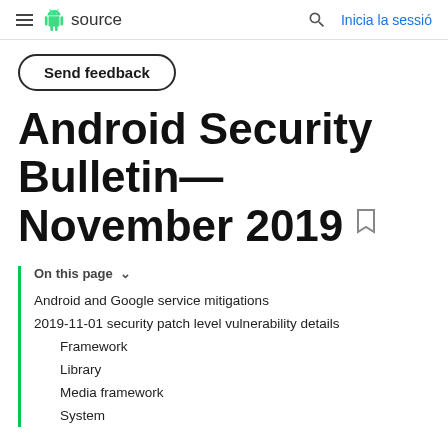≡ android source   🔍 Inicia la sessió
[Figure (screenshot): Send feedback button with rounded border]
Android Security Bulletin—November 2019
On this page ∨
Android and Google service mitigations
2019-11-01 security patch level vulnerability details
Framework
Library
Media framework
System